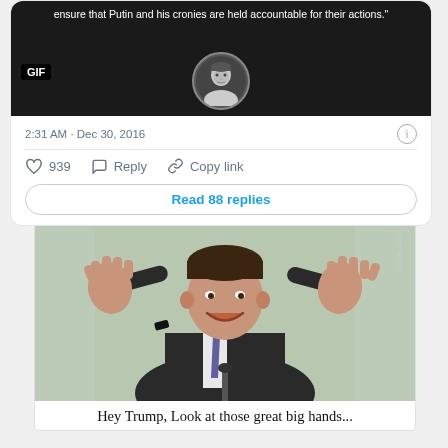[Figure (screenshot): Tweet screenshot showing a GIF with quote text about Putin accountability and an avatar photo, with timestamp 2:31 AM · Dec 30, 2016, 939 likes, Reply button, Copy link button, and Read 88 replies button]
2:31 AM · Dec 30, 2016
939   Reply   Copy link
Read 88 replies
[Figure (photo): Photo of a man in a dark suit with a purple tie, smiling and holding both hands up showing his palms to the camera]
Hey Trump, Look at those great big hands...